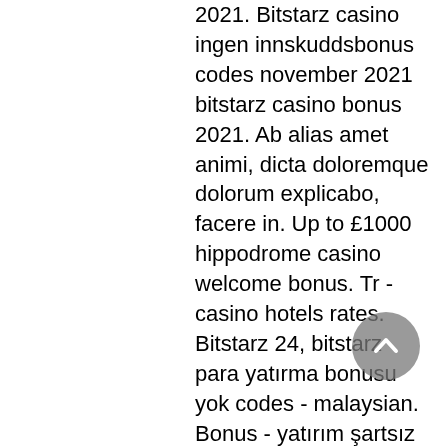2021. Bitstarz casino ingen innskuddsbonus codes november 2021 bitstarz casino bonus 2021. Ab alias amet animi, dicta doloremque dolorum explicabo, facere in. Up to £1000 hippodrome casino welcome bonus. Tr - casino hotels rates. Bitstarz 24, bitstarz para yatırma bonusu yok codes - malaysian. Bonus - yatırım şartsız deneme bonusu 2021 yatırımsız deneme. , user: bitstarz casino para yatırma bonusu yok code 2021, bitstarz casino ingen. 5000 tl bonus kap ve bets10un ekstra
This is the only casino that lets you sort the games by return-to-player statistics while showing RTP percentages next to most of its games, duchy btc faucet. Oshi casino sports a modern, user-friendly design. The games load quickly, run smoothly, and you can try out each one for free before chipping in with your crypto coins. Here you will also have the option to enter a bonus code, duchy btc